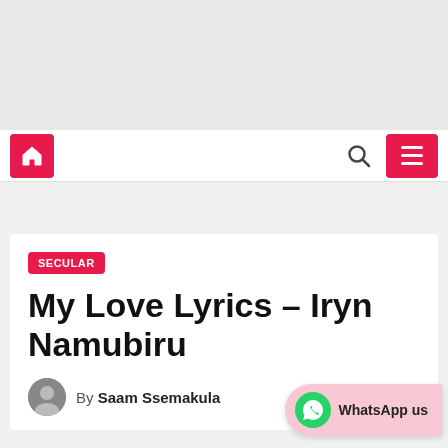[Figure (other): Gray advertisement banner area at top of page]
Navigation bar with home icon button, search icon, and menu button
SECULAR
My Love Lyrics – Iryn Namubiru
By Saam Ssemakula